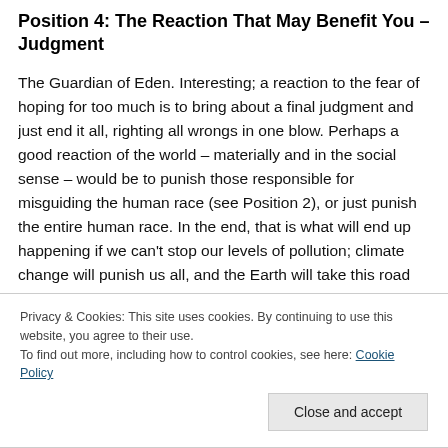Position 4: The Reaction That May Benefit You – Judgment
The Guardian of Eden. Interesting; a reaction to the fear of hoping for too much is to bring about a final judgment and just end it all, righting all wrongs in one blow. Perhaps a good reaction of the world – materially and in the social sense – would be to punish those responsible for misguiding the human race (see Position 2), or just punish the entire human race. In the end, that is what will end up happening if we can't stop our levels of pollution; climate change will punish us all, and the Earth will take this road
Privacy & Cookies: This site uses cookies. By continuing to use this website, you agree to their use.
To find out more, including how to control cookies, see here: Cookie Policy